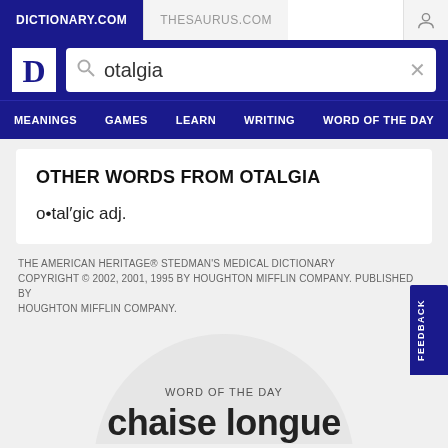DICTIONARY.COM | THESAURUS.COM
[Figure (screenshot): Dictionary.com logo with search bar showing 'otalgia']
MEANINGS  GAMES  LEARN  WRITING  WORD OF THE DAY
OTHER WORDS FROM OTALGIA
o•tal′gic adj.
THE AMERICAN HERITAGE® STEDMAN'S MEDICAL DICTIONARY COPYRIGHT © 2002, 2001, 1995 BY HOUGHTON MIFFLIN COMPANY. PUBLISHED BY HOUGHTON MIFFLIN COMPANY.
WORD OF THE DAY
chaise longue